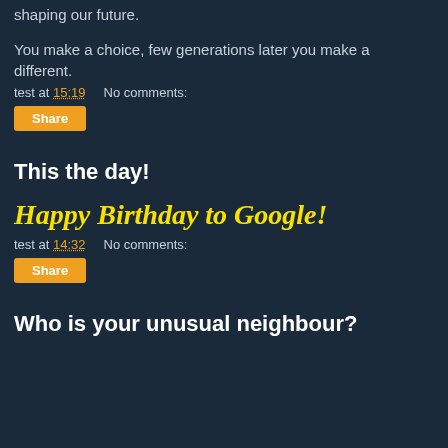shaping our future.
You make a choice, few generations later you make a different.
test at 15:19   No comments:
Share
This the day!
Happy Birthday to Google!
test at 14:32   No comments:
Share
Who is your unusual neighbour?